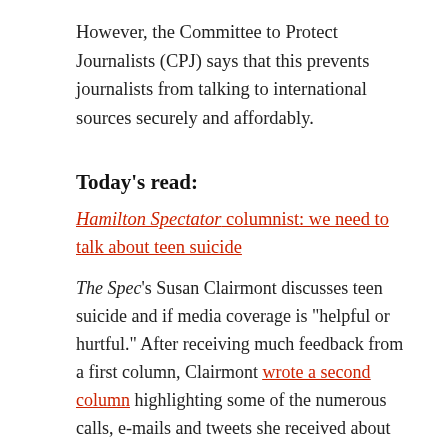However, the Committee to Protect Journalists (CPJ) says that this prevents journalists from talking to international sources securely and affordably.
Today's read:
Hamilton Spectator columnist: we need to talk about teen suicide
The Spec's Susan Clairmont discusses teen suicide and if media coverage is "helpful or hurtful." After receiving much feedback from a first column, Clairmont wrote a second column highlighting some of the numerous calls, e-mails and tweets she received about the issue.